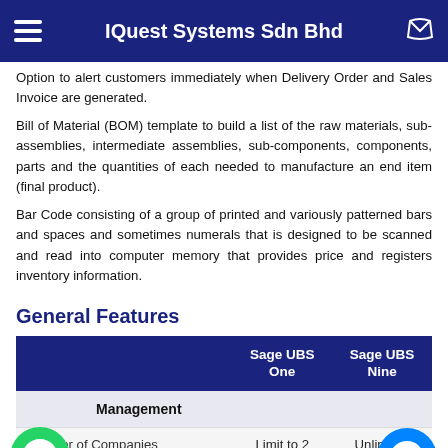IQuest Systems Sdn Bhd
Option to alert customers immediately when Delivery Order and Sales Invoice are generated.
Bill of Material (BOM) template to build a list of the raw materials, sub-assemblies, intermediate assemblies, sub-components, components, parts and the quantities of each needed to manufacture an end item (final product).
Bar Code consisting of a group of printed and variously patterned bars and spaces and sometimes numerals that is designed to be scanned and read into computer memory that provides price and registers inventory information.
General Features
|  | Sage UBS One | Sage UBS Nine |
| --- | --- | --- |
| Management |  |  |
| Number of Companies | Limit to 2 | Unlimited |